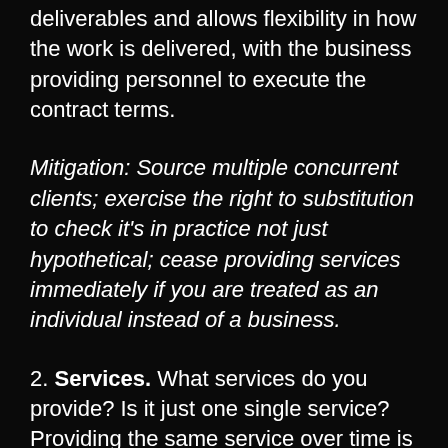deliverables and allows flexibility in how the work is delivered, with the business providing personnel to execute the contract terms.
Mitigation: Source multiple concurrent clients; exercise the right to substitution to check it's in practice not just hypothetical; cease providing services immediately if you are treated as an individual instead of a business.
2. Services. What services do you provide? Is it just one single service? Providing the same service over time is absolutely fine (and how the majority of independent contracting companies operate), but you need to remember that 'you' are not a service —